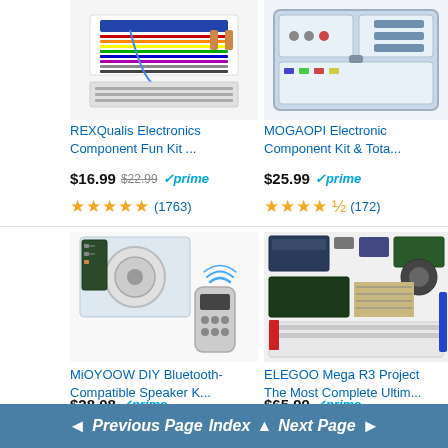[Figure (photo): REXQualis Electronics Component Fun Kit product image showing breadboard and components]
REXQualis Electronics Component Fun Kit ...
$16.99  $22.99  prime
★★★★★ (1763)
[Figure (photo): MOGAOPI Electronic Component Kit & Tota... product image showing component organizer case]
MOGAOPI Electronic Component Kit & Tota...
$25.99  prime
★★★★½ (172)
[Figure (photo): MiOYOOW DIY Bluetooth-Compatible Speaker K... product image]
MiOYOOW DIY Bluetooth-Compatible Speaker K...
$28.08  prime
★★★☆☆ (196)
[Figure (photo): ELEGOO Mega R3 Project The Most Complete Ultim... product image]
ELEGOO Mega R3 Project The Most Complete Ultim...
$65.99  prime
★★★★½ (5961)
◄ Previous Page  Index ▲  Next Page ►